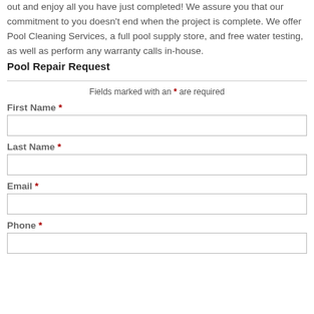out and enjoy all you have just completed! We assure you that our commitment to you doesn't end when the project is complete. We offer Pool Cleaning Services, a full pool supply store, and free water testing, as well as perform any warranty calls in-house.
Pool Repair Request
Fields marked with an * are required
First Name *
Last Name *
Email *
Phone *